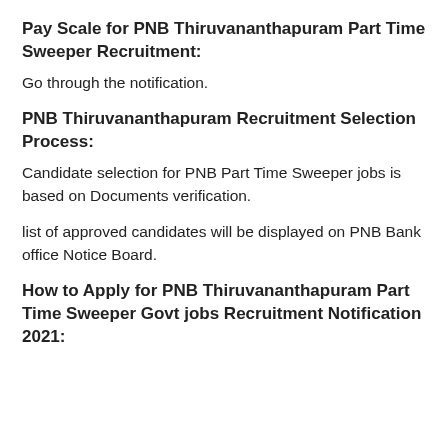Pay Scale for PNB Thiruvananthapuram Part Time Sweeper Recruitment:
Go through the notification.
PNB Thiruvananthapuram Recruitment Selection Process:
Candidate selection for PNB Part Time Sweeper jobs is based on Documents verification.
list of approved candidates will be displayed on PNB Bank office Notice Board.
How to Apply for PNB Thiruvananthapuram Part Time Sweeper Govt jobs Recruitment Notification 2021: